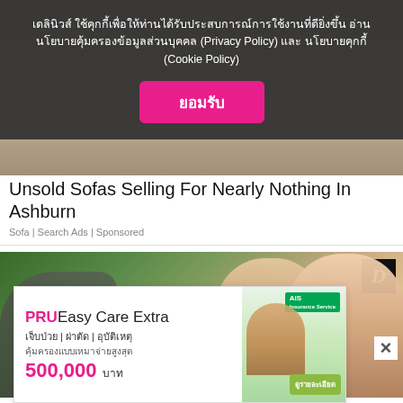[Figure (screenshot): Blurred background image of sofas/wooden items behind cookie consent overlay]
เดลินิวส์ ใช้คุกกี้เพื่อให้ท่านได้รับประสบการณ์การใช้งานที่ดียิ่งขึ้น อ่านนโยบายคุ้มครองข้อมูลส่วนบุคคล (Privacy Policy) และ นโยบายคุกกี้ (Cookie Policy)
ยอมรับ
Unsold Sofas Selling For Nearly Nothing In Ashburn
Sofa | Search Ads | Sponsored
[Figure (photo): Photo of three people (two men with curly hair and a woman) in an outdoor setting. A D logo is visible in the top right corner.]
[Figure (infographic): PRU Easy Care Extra insurance advertisement banner. Shows text: PRUEasy Care Extra, เจ็บป่วย | ผ่าตัด | อุบัติเหตุ, คุ้มครองแบบเหมาจ่ายสูงสุด, 500,000 บาท, with a person holding a phone and a green detail button.]